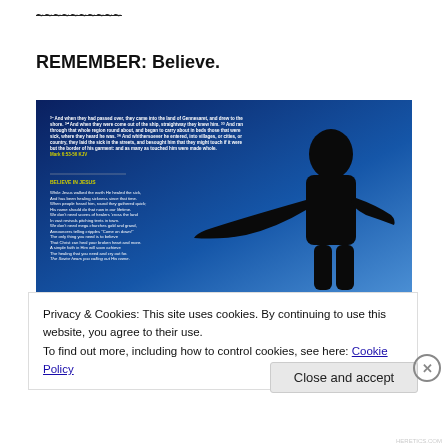~~~~~~~~~~
REMEMBER: Believe.
[Figure (photo): Dark blue gradient background image with a silhouette of a person with outstretched hand on the right side. On the left side, white and yellow text contains a Bible verse (Mark 6:53-56 KJV) and a poem titled 'BELIEVE IN JESUS'.]
Privacy & Cookies: This site uses cookies. By continuing to use this website, you agree to their use. To find out more, including how to control cookies, see here: Cookie Policy
Close and accept